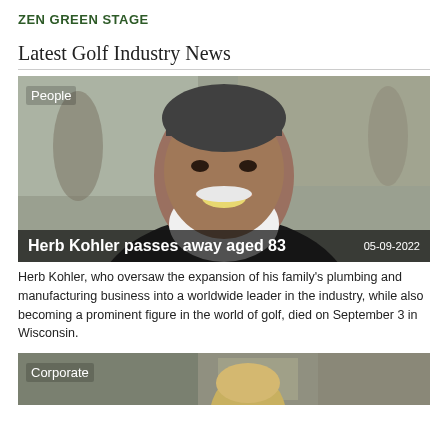ZEN GREEN STAGE
Latest Golf Industry News
[Figure (photo): Photo of Herb Kohler, a smiling older man with a white beard wearing a dark jacket, with blurred background. Tag 'People' in top left. Overlay bar at bottom shows headline 'Herb Kohler passes away aged 83' and date '05-09-2022'.]
Herb Kohler, who oversaw the expansion of his family's plumbing and manufacturing business into a worldwide leader in the industry, while also becoming a prominent figure in the world of golf, died on September 3 in Wisconsin.
[Figure (photo): Partial photo showing top of a blond man's head and a building/structure behind him. Tag 'Corporate' in top left.]